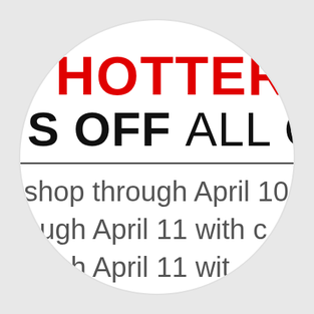[Figure (other): Circular cropped promotional advertisement showing text: HOTTER, S OFF ALL OR, shop through April 10, ough April 11 with c, ough April 11 with, 'S AND IN S]
HOTTER
S OFF ALL OR
shop through April 10
ough April 11 with c
ough April 11 with
'S AND IN S